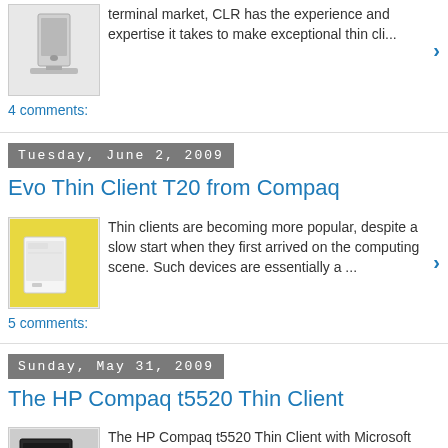terminal market, CLR has the experience and expertise it takes to make exceptional thin cli...
4 comments:
Tuesday, June 2, 2009
Evo Thin Client T20 from Compaq
[Figure (photo): Evo Thin Client T20 from Compaq product photo on yellow background]
Thin clients are becoming more popular, despite a slow start when they first arrived on the computing scene. Such devices are essentially a ...
5 comments:
Sunday, May 31, 2009
The HP Compaq t5520 Thin Client
[Figure (photo): HP Compaq t5520 Thin Client product photo]
The HP Compaq t5520 Thin Client with Microsoft Windows CE 5.0 delivers a great desktop experience for task-oriented workers using ...